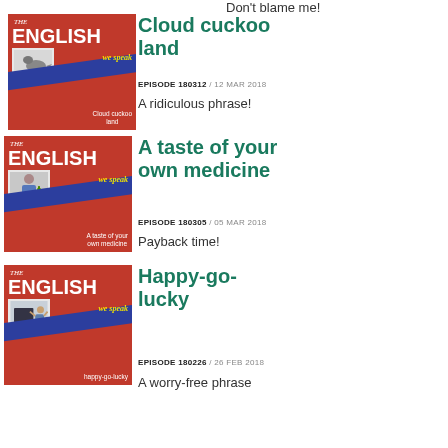Don't blame me!
[Figure (illustration): BBC English We Speak podcast thumbnail for Cloud cuckoo land, red background with bird image]
Cloud cuckoo land
EPISODE 180312 / 12 MAR 2018
A ridiculous phrase!
[Figure (illustration): BBC English We Speak podcast thumbnail for A taste of your own medicine, red background with person holding bottle]
A taste of your own medicine
EPISODE 180305 / 05 MAR 2018
Payback time!
[Figure (illustration): BBC English We Speak podcast thumbnail for Happy-go-lucky, red background with person at desk]
Happy-go-lucky
EPISODE 180226 / 26 FEB 2018
A worry-free phrase